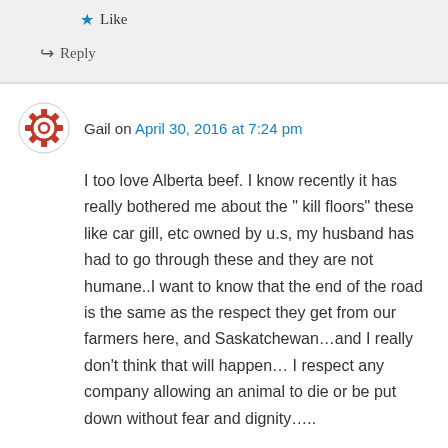Like
Reply
Gail on April 30, 2016 at 7:24 pm
I too love Alberta beef. I know recently it has really bothered me about the " kill floors" these like car gill, etc owned by u.s, my husband has had to go through these and they are not humane..I want to know that the end of the road is the same as the respect they get from our farmers here, and Saskatchewan…and I really don't think that will happen… I respect any company allowing an animal to die or be put down without fear and dignity…..